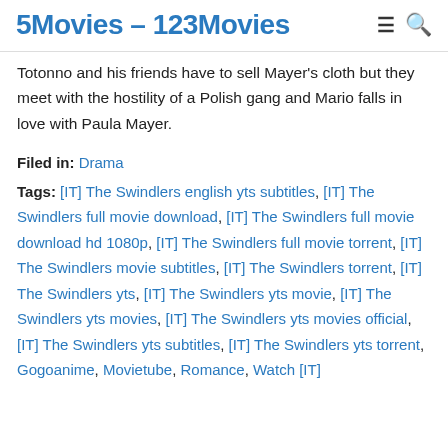5Movies – 123Movies
Totonno and his friends have to sell Mayer's cloth but they meet with the hostility of a Polish gang and Mario falls in love with Paula Mayer.
Filed in: Drama
Tags: [IT] The Swindlers english yts subtitles, [IT] The Swindlers full movie download, [IT] The Swindlers full movie download hd 1080p, [IT] The Swindlers full movie torrent, [IT] The Swindlers movie subtitles, [IT] The Swindlers torrent, [IT] The Swindlers yts, [IT] The Swindlers yts movie, [IT] The Swindlers yts movies, [IT] The Swindlers yts movies official, [IT] The Swindlers yts subtitles, [IT] The Swindlers yts torrent, Gogoanime, Movietube, Romance, Watch [IT]